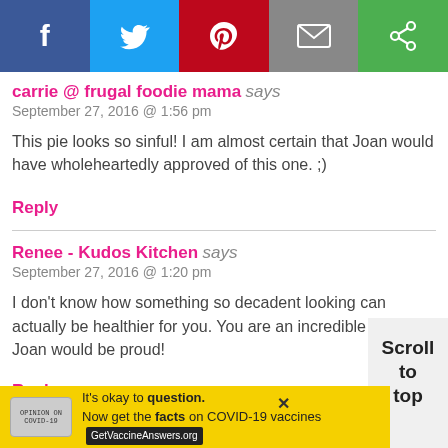[Figure (other): Social sharing bar with Facebook, Twitter, Pinterest, Email, and share buttons]
carrie @ frugal foodie mama says
September 27, 2016 @ 1:56 pm
This pie looks so sinful! I am almost certain that Joan would have wholeheartedly approved of this one. ;)
Reply
Renee - Kudos Kitchen says
September 27, 2016 @ 1:20 pm
I don't know how something so decadent looking can actually be healthier for you. You are an incredible baker. Joan would be proud!
Reply
Scroll to top
It's okay to question. Now get the facts on COVID-19 vaccines GetVaccineAnswers.org